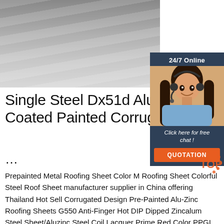[Figure (photo): Stack of metal steel sheets/panels stored in a warehouse, seen from above-angle, showing shiny reflective surfaces.]
[Figure (infographic): 24/7 Online chat widget with customer service agent (woman with headset), 'Click here for free chat!' text, and orange QUOTATION button.]
Single Steel Dx51d Alu Coated Painted Corrug ...
Prepainted Metal Roofing Sheet Color M Roofing Sheet Colorful Steel Roof Sheet manufacturer supplier in China offering Thailand Hot Sell Corrugated Design Pre-Painted Alu-Zinc Roofing Sheets G550 Anti-Finger Hot DIP Dipped Zincalum Steel Sheet/Aluzinc Steel Coil Lacquer Prime Red Color PPGI PPGL Colour Coated Pre